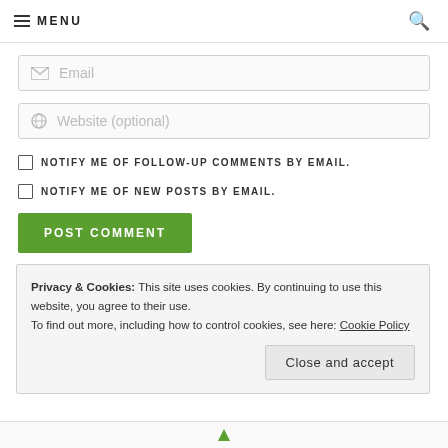MENU
Email
Website (optional)
NOTIFY ME OF FOLLOW-UP COMMENTS BY EMAIL.
NOTIFY ME OF NEW POSTS BY EMAIL.
POST COMMENT
This site uses Akismet to reduce spam. Learn how your
Privacy & Cookies: This site uses cookies. By continuing to use this website, you agree to their use.
To find out more, including how to control cookies, see here: Cookie Policy
Close and accept